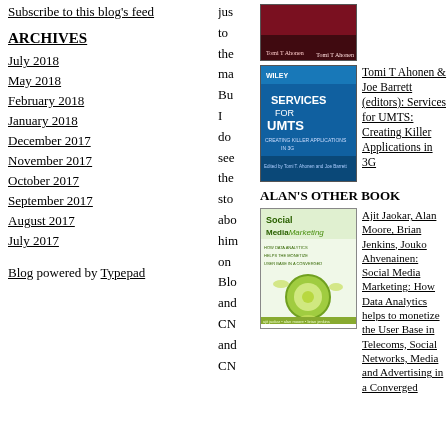Subscribe to this blog's feed
ARCHIVES
July 2018
May 2018
February 2018
January 2018
December 2017
November 2017
October 2017
September 2017
August 2017
July 2017
Blog powered by Typepad
[Figure (photo): Book cover - red/dark toned]
[Figure (photo): Services for UMTS book cover - blue with title text]
Tomi T Ahonen & Joe Barrett (editors): Services for UMTS: Creating Killer Applications in 3G
ALAN'S OTHER BOOK
[Figure (photo): Social Media Marketing book cover - green/white with flower design]
Ajit Jaokar, Alan Moore, Brian Jenkins, Jouko Ahvenainen: Social Media Marketing: How Data Analytics helps to monetize the User Base in Telecoms, Social Networks, Media and Advertising in a Converged